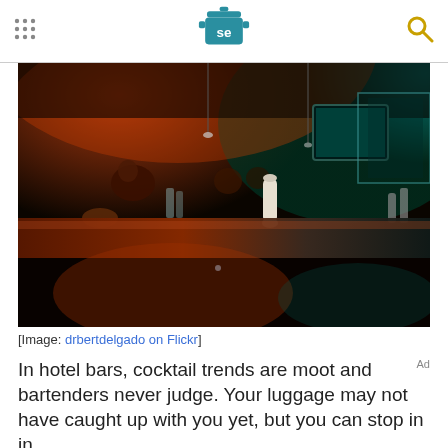SE logo header with grid menu icon and search icon
[Figure (photo): Interior of a hotel/cocktail bar at night, viewed from bar counter level. Warm red and orange lighting on the left half, cool teal/green ambient light on the right with a display screen. Patrons visible in background. Pepper grinder and bar accessories on the counter.]
[Image: drbertdelgado on Flickr]
In hotel bars, cocktail trends are moot and bartenders never judge. Your luggage may not have caught up with you yet, but you can stop in in